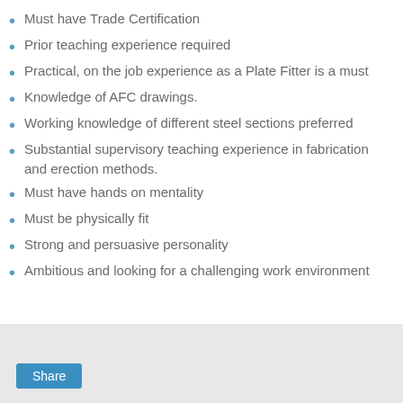Must have Trade Certification
Prior teaching experience required
Practical, on the job experience as a Plate Fitter is a must
Knowledge of AFC drawings.
Working knowledge of different steel sections preferred
Substantial supervisory teaching experience in fabrication and erection methods.
Must have hands on mentality
Must be physically fit
Strong and persuasive personality
Ambitious and looking for a challenging work environment